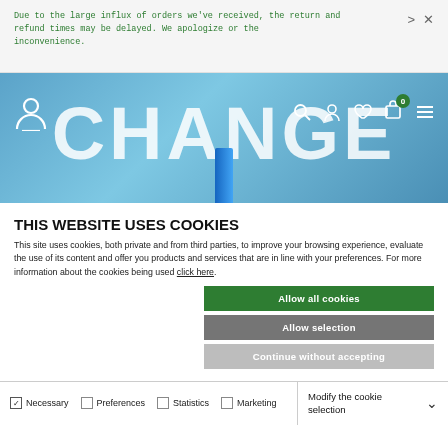Due to the large influx of orders we've received, the return and refund times may be delayed. We apologize or the inconvenience.
[Figure (screenshot): Benetton website hero banner with CHANGE text in large white letters on a blue sky background, with navigation icons including account, search, profile, wishlist, cart (badge: 0), and hamburger menu.]
THIS WEBSITE USES COOKIES
This site uses cookies, both private and from third parties, to improve your browsing experience, evaluate the use of its content and offer you products and services that are in line with your preferences. For more information about the cookies being used click here.
Allow all cookies
Allow selection
Continue without accepting
Necessary   Preferences   Statistics   Marketing   Modify the cookie selection